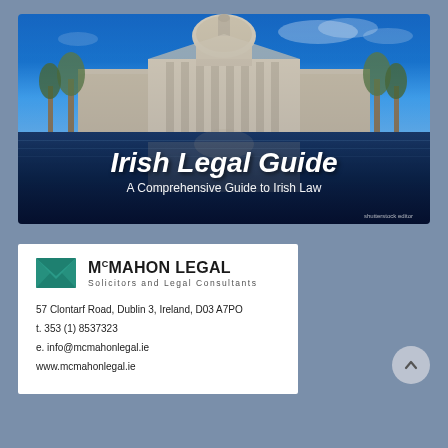[Figure (photo): Photo of the Four Courts building in Dublin, Ireland reflected in the River Liffey, with a bright blue sky. Overlaid text reads 'Irish Legal Guide' and 'A Comprehensive Guide to Irish Law'. Made with Shutterstock editor watermark in bottom right.]
[Figure (logo): McMahon Legal logo: teal envelope icon on left, firm name 'Mc MAHON LEGAL' in bold, subtitle 'Solicitors and Legal Consultants' below]
57 Clontarf Road, Dublin 3, Ireland, D03 A7PO
t. 353 (1) 8537323
e. info@mcmahonlegal.ie
www.mcmahonlegal.ie